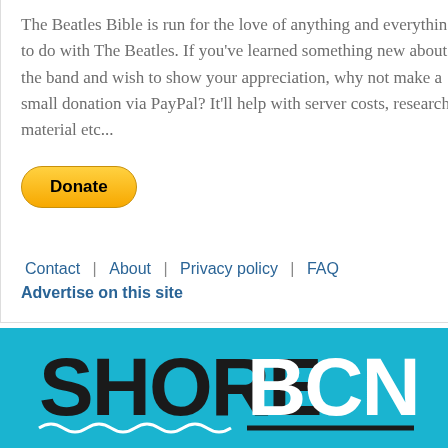The Beatles Bible is run for the love of anything and everything to do with The Beatles. If you've learned something new about the band and wish to show your appreciation, why not make a small donation via PayPal? It'll help with server costs, research material etc...
[Figure (other): Yellow PayPal Donate button with rounded rectangle shape and bold black text]
Contact | About | Privacy policy | FAQ
Advertise on this site
[Figure (logo): SHORE BCN logo on cyan/turquoise background. SHORE in large bold black letters, BCN in large bold white letters, with wavy white underline and black horizontal bar beneath]